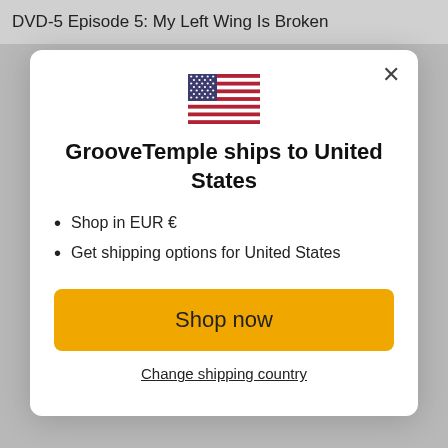DVD-5 Episode 5: My Left Wing Is Broken
[Figure (illustration): US flag icon (stars and stripes)]
GrooveTemple ships to United States
Shop in EUR €
Get shipping options for United States
Shop now
Change shipping country